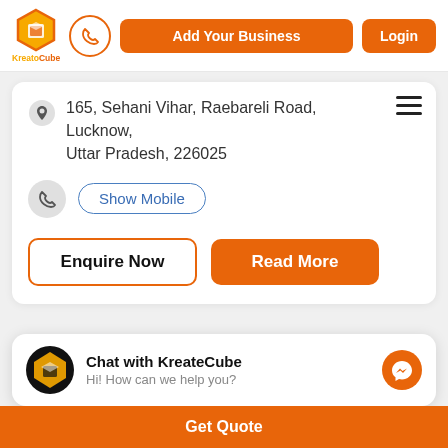[Figure (logo): KreatoCube logo with orange/yellow hexagon cube icon and text KreatoCube]
[Figure (illustration): Orange circle with phone handset icon for calling]
Add Your Business
Login
165, Sehani Vihar, Raebareli Road, Lucknow, Uttar Pradesh, 226025
Show Mobile
Enquire Now
Read More
Chat with KreateCube
Hi! How can we help you?
Get Quote